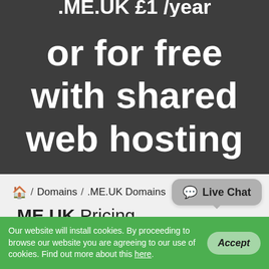.ME.UK £1 /year
or for free with shared web hosting
🏠 / Domains / .ME.UK Domains
.ME.UK Pricing
💬 Live Chat
Our website will install cookies. By proceeding to browse our website you are agreeing to our use of cookies. Find out more about this here.